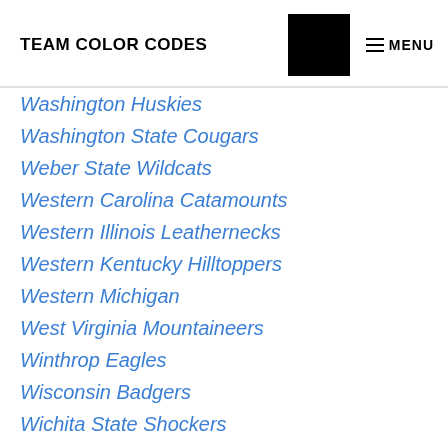TEAM COLOR CODES
Washington Huskies
Washington State Cougars
Weber State Wildcats
Western Carolina Catamounts
Western Illinois Leathernecks
Western Kentucky Hilltoppers
Western Michigan
West Virginia Mountaineers
Winthrop Eagles
Wisconsin Badgers
Wichita State Shockers
William & Mary Tribe
Wofford Terriers